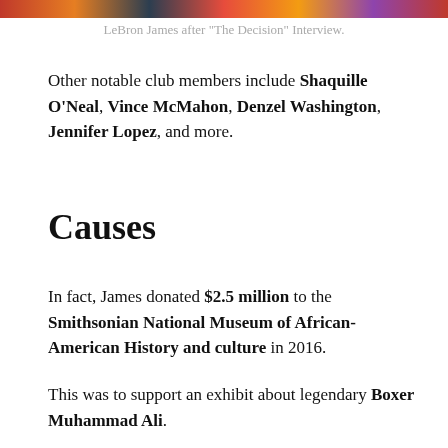[Figure (photo): Colorful image strip at top of page, partially visible]
LeBron James after "The Decision" Interview.
Other notable club members include Shaquille O'Neal, Vince McMahon, Denzel Washington, Jennifer Lopez, and more.
Causes
In fact, James donated $2.5 million to the Smithsonian National Museum of African-American History and culture in 2016.
This was to support an exhibit about legendary Boxer Muhammad Ali.
The exhibit also received donations from Michael Jordan